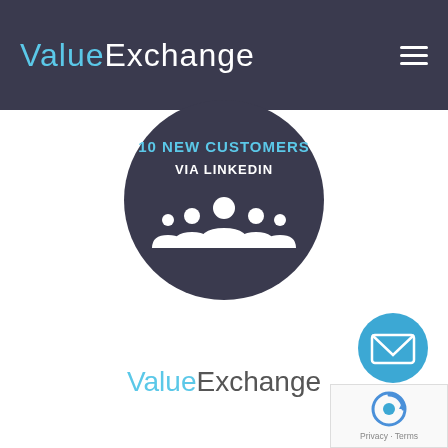ValueExchange
[Figure (infographic): Dark circular badge with text '10 NEW CUSTOMERS VIA LINKEDIN' and a white group/people icon at the bottom]
[Figure (logo): ValueExchange logo with 'Value' in light blue and 'Exchange' in dark gray]
[Figure (other): Blue circular mail/envelope button]
[Figure (other): reCAPTCHA badge with Privacy and Terms links]